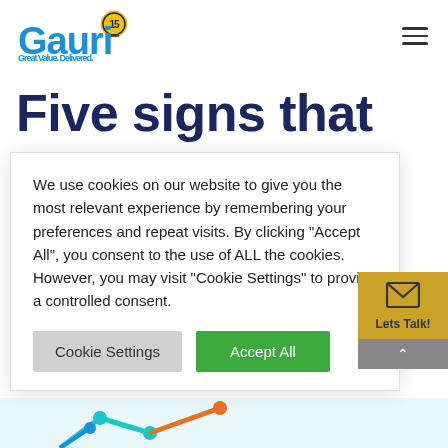[Figure (logo): Gauri logo with '15' anniversary badge, tagline 'Great Value. Delivered.']
Five signs that you
We use cookies on our website to give you the most relevant experience by remembering your preferences and repeat visits. By clicking "Accept All", you consent to the use of ALL the cookies. However, you may visit "Cookie Settings" to provide a controlled consent.
Cookie Settings   Accept All
[Figure (infographic): Lets Talk widget with envelope icon and scroll-up arrow, and partial background image with connected nodes graphic]